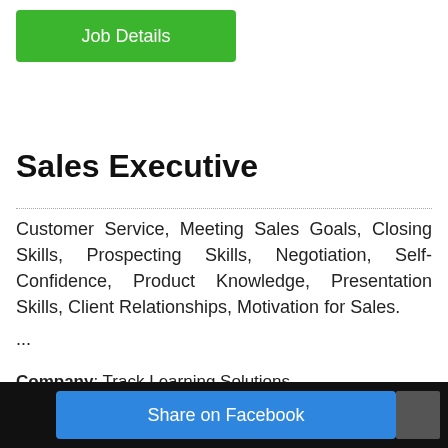Job Details
Sales Executive
Customer Service, Meeting Sales Goals, Closing Skills, Prospecting Skills, Negotiation, Self-Confidence, Product Knowledge, Presentation Skills, Client Relationships, Motivation for Sales.
...
Company: Track Learning Solutions
Location: Kuwait City, Al Asimah Governate, kw
Share on Facebook